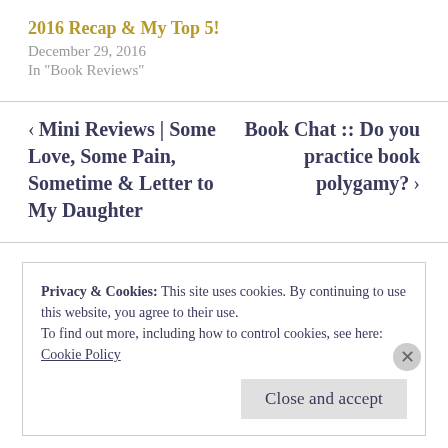2016 Recap & My Top 5!
December 29, 2016
In "Book Reviews"
‹ Mini Reviews | Some Love, Some Pain, Sometime & Letter to My Daughter
Book Chat :: Do you practice book polygamy? ›
Privacy & Cookies: This site uses cookies. By continuing to use this website, you agree to their use.
To find out more, including how to control cookies, see here: Cookie Policy
Close and accept